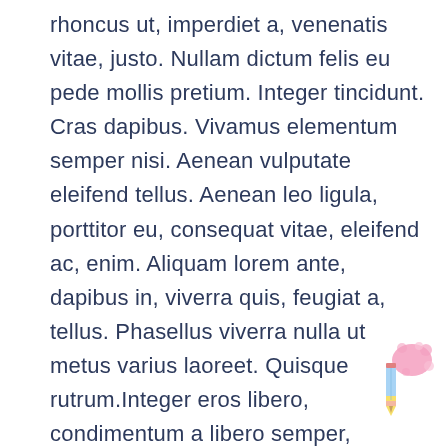rhoncus ut, imperdiet a, venenatis vitae, justo. Nullam dictum felis eu pede mollis pretium. Integer tincidunt. Cras dapibus. Vivamus elementum semper nisi. Aenean vulputate eleifend tellus. Aenean leo ligula, porttitor eu, consequat vitae, eleifend ac, enim. Aliquam lorem ante, dapibus in, viverra quis, feugiat a, tellus. Phasellus viverra nulla ut metus varius laoreet. Quisque rutrum.Integer eros libero, condimentum a libero semper, porttitor sodales teger consequ lorem rmentum pellenesque, arcu sem porta orc, eu posuere diam anec quam. Fusce lobortis eros nec leo hendrerit, nec varius
[Figure (illustration): A cartoon pencil with a pink splatter/paint blob decoration in the bottom-right corner of the page]